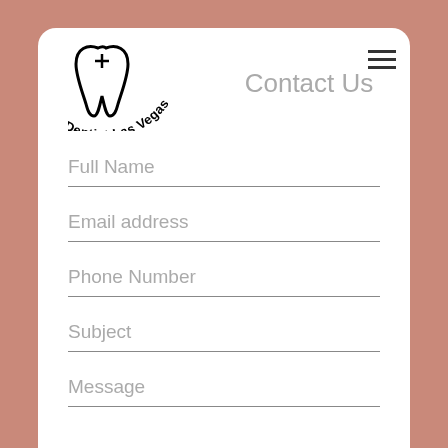[Figure (screenshot): Dental clinic website contact page screenshot showing 'Best Dentist Las Vegas' logo with tooth icon, 'Contact Us' heading, hamburger menu, and a contact form with fields: Full Name, Email address, Phone Number, Subject, Message]
Contact Us
Full Name
Email address
Phone Number
Subject
Message